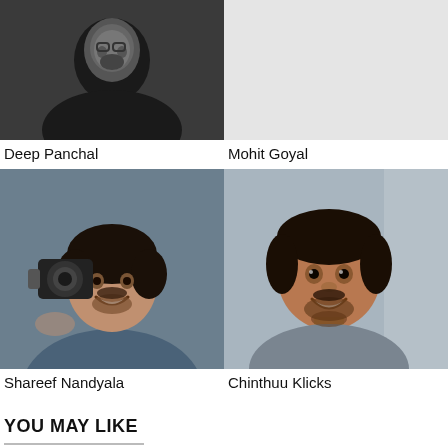[Figure (photo): Black and white photo of Deep Panchal, a man with beard wearing dark clothing]
[Figure (photo): Light gray placeholder area for Mohit Goyal photo]
Deep Panchal
Mohit Goyal
[Figure (photo): Color photo of Shareef Nandyala smiling, holding a camera up to his face, wearing denim shirt]
[Figure (photo): Color selfie photo of Chinthuu Klicks smiling, taken in a car]
Shareef Nandyala
Chinthuu Klicks
YOU MAY LIKE